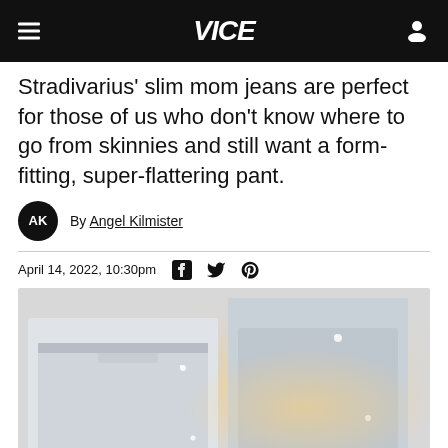VICE
Stradivarius' slim mom jeans are perfect for those of us who don't know where to go from skinnies and still want a form-fitting, super-flattering pant.
By Angel Kilmister
April 14, 2022, 10:30pm
[Figure (photo): Two women wearing light blue slim mom jeans against a warm glowing background with sparkle effects]